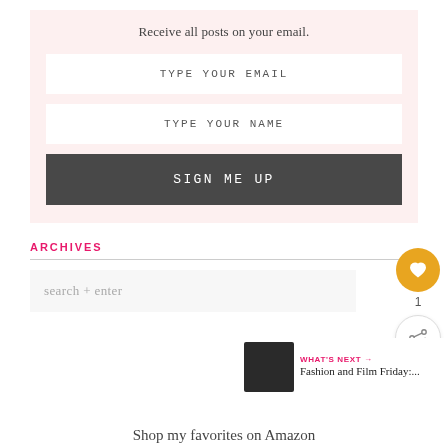Receive all posts on your email.
TYPE YOUR EMAIL
TYPE YOUR NAME
SIGN ME UP
ARCHIVES
search + enter
Shop my favorites on Amazon